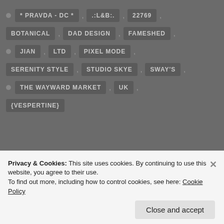* PRAVDA - DC * , .:L&B:. , 22769 ,
BOTANICAL , DAD DESIGN , FAMESHED ,
JIAN , LTD , PIXEL MODE ,
SERENITY STYLE , STUDIO SKYE , SWAY'S ,
THE WAYWARD MARKET , UK ,
{VESPERTINE}
Privacy & Cookies: This site uses cookies. By continuing to use this website, you agree to their use.
To find out more, including how to control cookies, see here: Cookie Policy
Close and accept